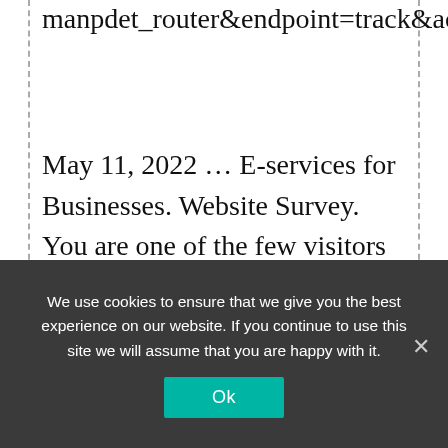manpdet_router&endpoint=track&action=click&data=WyIxNTAxIiwiZjc5YTU2IiwiNzgxIiwiYWEyMWIzZjZhMGRiIixmYWxzZV0
May 11, 2022 … E-services for Businesses. Website Survey. You are one of the few visitors who have been selected to share your …
Conclusion:
We use cookies to ensure that we give you the best experience on our website. If you continue to use this site we will assume that you are happy with it.